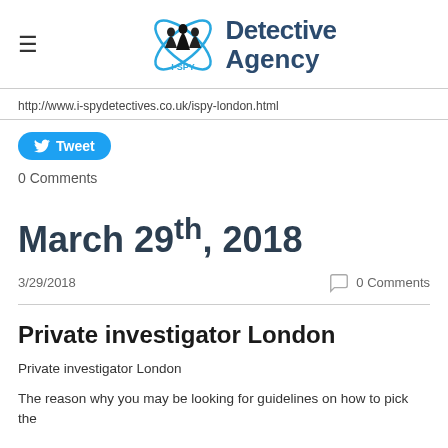[Figure (logo): I-SPY Detective Agency logo with silhouetted figures inside an X/atom shape, blue orbit rings, and text 'I-SPY Detective Agency']
http://www.i-spydetectives.co.uk/ispy-london.html
[Figure (other): Twitter Tweet button]
0 Comments
March 29th, 2018
3/29/2018
0 Comments
Private investigator London
Private investigator London
The reason why you may be looking for guidelines on how to pick the